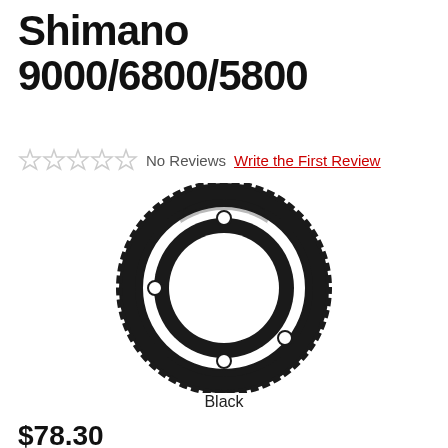Shimano 9000/6800/5800
No Reviews  Write the First Review
[Figure (photo): Black bicycle chainring/sprocket for Shimano 9000/6800/5800, viewed from front, showing toothed ring with four mounting holes and dark matte finish]
Black
$78.30